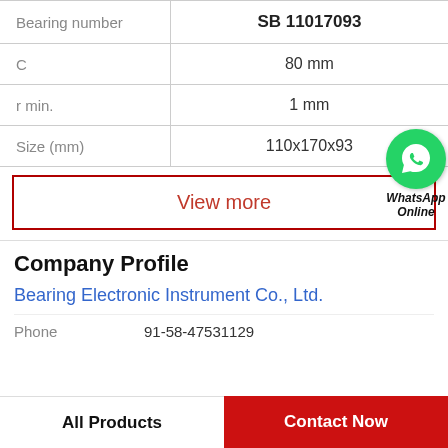| Property | Value |
| --- | --- |
| Bearing number | SB 11017093 |
| C | 80 mm |
| r min. | 1 mm |
| Size (mm) | 110x170x93 |
View more
[Figure (logo): WhatsApp Online green circle icon with phone symbol, labeled WhatsApp Online]
Company Profile
Bearing Electronic Instrument Co., Ltd.
Phone  91-58-47531129
All Products
Contact Now